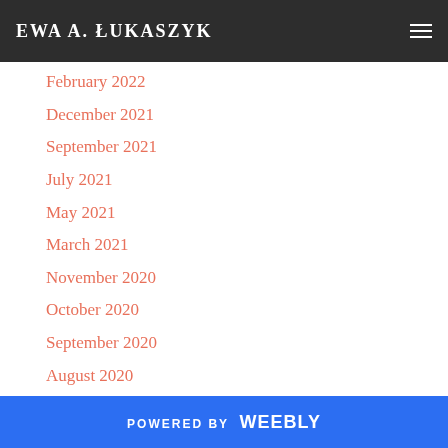EWA A. ŁUKASZYK
February 2022
December 2021
September 2021
July 2021
May 2021
March 2021
November 2020
October 2020
September 2020
August 2020
June 2020
May 2020
April 2020
March 2020
February 2020
POWERED BY weebly